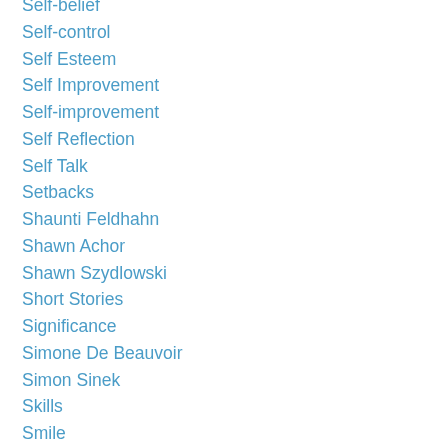Self-belief
Self-control
Self Esteem
Self Improvement
Self-improvement
Self Reflection
Self Talk
Setbacks
Shaunti Feldhahn
Shawn Achor
Shawn Szydlowski
Short Stories
Significance
Simone De Beauvoir
Simon Sinek
Skills
Smile
Social Media
Solutions
Someday
Sports